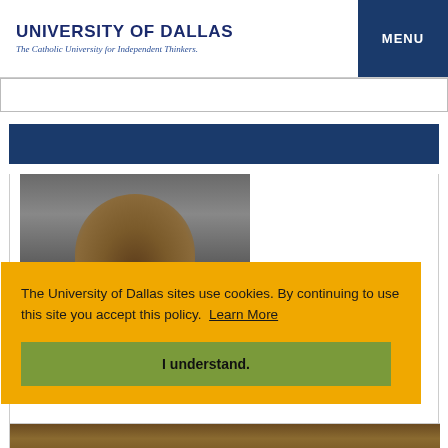UNIVERSITY OF DALLAS
The Catholic University for Independent Thinkers.
MENU
[Figure (screenshot): University of Dallas website screenshot showing header, navigation, photo of person, and cookie consent banner]
The University of Dallas sites use cookies. By continuing to use this site you accept this policy.  Learn More
I understand.